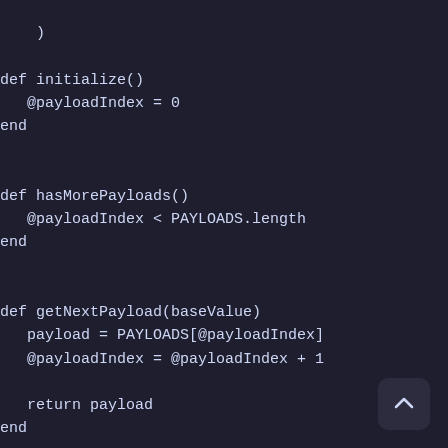def initialize()
  @payloadIndex = 0
end

def hasMorePayloads()
  @payloadIndex < PAYLOADS.length
end

def getNextPayload(baseValue)
  payload = PAYLOADS[@payloadIndex]
  @payloadIndex = @payloadIndex + 1

  return payload
end